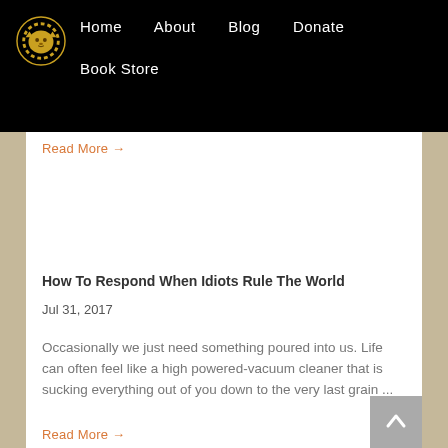Home   About   Blog   Donate   Book Store
Read More →
How To Respond When Idiots Rule The World
Jul 31, 2017
Occasionally we just need something poured into us. Life can often feel like a high powered-vacuum cleaner that is sucking everything out of you down to the very last grain ...
Read More →